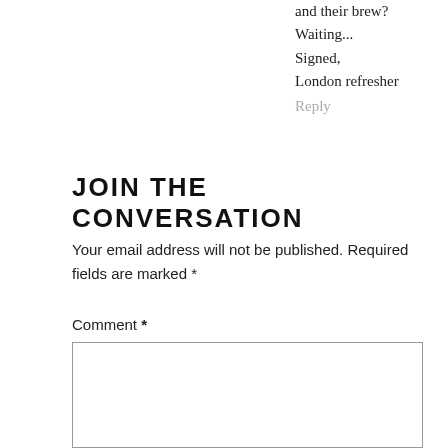and their brew?
Waiting...
Signed,
London refresher
Reply
JOIN THE CONVERSATION
Your email address will not be published. Required fields are marked *
Comment *